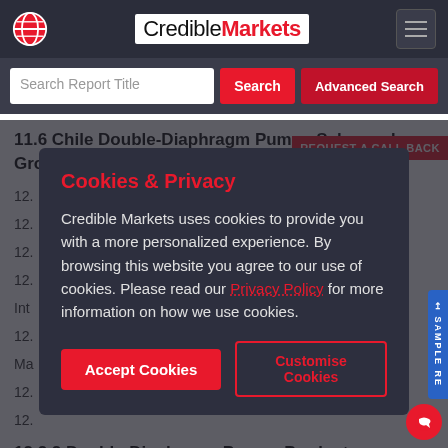CredibleMarkets
Search Report Title
11.6 Chile Double-Diaphragm Pumps Sales and Growth Rate (2015-2026)
12.
12.
12.
12.
Int
12.
Ma
12.
12.
12.2.2 Double-Diaphragm Pumps Product
Cookies & Privacy

Credible Markets uses cookies to provide you with a more personalized experience. By browsing this website you agree to our use of cookies. Please read our Privacy Policy for more information on how we use cookies.